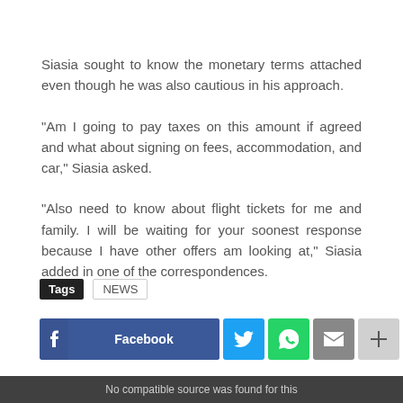Siasia sought to know the monetary terms attached even though he was also cautious in his approach.
"Am I going to pay taxes on this amount if agreed and what about signing on fees, accommodation, and car," Siasia asked.
"Also need to know about flight tickets for me and family. I will be waiting for your soonest response because I have other offers am looking at," Siasia added in one of the correspondences.
Tags  NEWS
[Figure (screenshot): Social sharing bar with Facebook, Twitter, WhatsApp, Email, Plus, and scroll-to-top buttons]
No compatible source was found for this